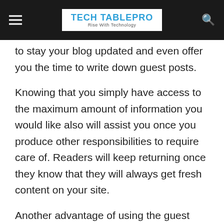TECH TABLEPRO | Rise With Technology
to stay your blog updated and even offer you the time to write down guest posts.
Knowing that you simply have access to the maximum amount of information you would like also will assist you once you produce other responsibilities to require care of. Readers will keep returning once they know that they will always get fresh content on your site.
Another advantage of using the guest posting service and buy guest post is that you simply can ensure site optimization. The service will help to form sure that the posts are optimized to direct